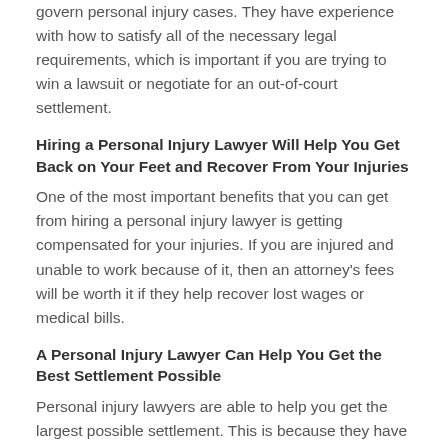govern personal injury cases. They have experience with how to satisfy all of the necessary legal requirements, which is important if you are trying to win a lawsuit or negotiate for an out-of-court settlement.
Hiring a Personal Injury Lawyer Will Help You Get Back on Your Feet and Recover From Your Injuries
One of the most important benefits that you can get from hiring a personal injury lawyer is getting compensated for your injuries. If you are injured and unable to work because of it, then an attorney's fees will be worth it if they help recover lost wages or medical bills.
A Personal Injury Lawyer Can Help You Get the Best Settlement Possible
Personal injury lawyers are able to help you get the largest possible settlement. This is because they have a lot of experience in negotiating settlements and know how much your injuries would be worth if you won an out-of-court settlement or went through arbitration.
Personal Injury Lawyers Specialize In Dealing With